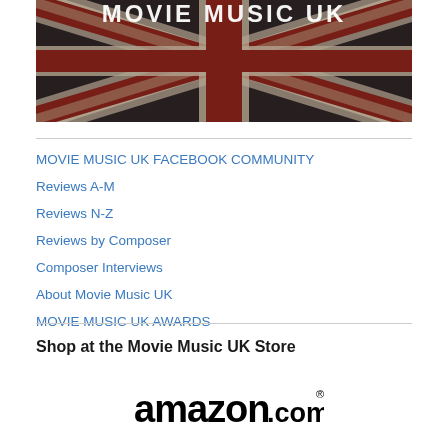[Figure (illustration): Movie Music UK banner with distressed Union Jack flag background and white text reading MOVIE MUSIC UK at the top]
MOVIE MUSIC UK FACEBOOK COMMUNITY
Reviews A-M
Reviews N-Z
Reviews by Composer
Composer Interviews
About Movie Music UK
MOVIE MUSIC UK AWARDS
Shop at the Movie Music UK Store
[Figure (logo): amazon.com logo in bold black text with trademark symbol]